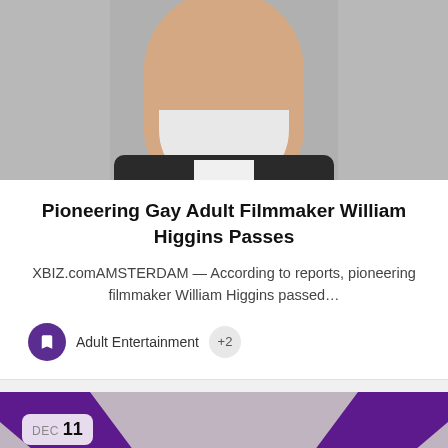[Figure (photo): Photo of William Higgins, elderly man with white beard and dark jacket, gray background]
Pioneering Gay Adult Filmmaker William Higgins Passes
XBIZ.comAMSTERDAM — According to reports, pioneering filmmaker William Higgins passed…
Adult Entertainment +2
[Figure (photo): Purple V-shape ribbon/lanyard on gray background with DEC 11 date badge]